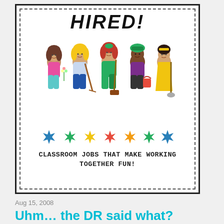[Figure (illustration): Educational book cover with title 'HIRED!' at top in bold italic font, a dashed border frame, cartoon illustration of five diverse children holding cleaning/gardening tools, colorful paint splat star decorations, and subtitle text 'CLASSROOM JOBS THAT MAKE WORKING TOGETHER FUN!']
Aug 15, 2008
Uhm… the DR said what?